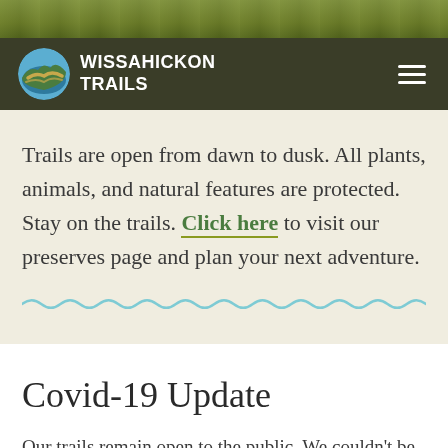[Figure (photo): Green leafy foliage hero image strip at the top of the page]
WISSAHICKON TRAILS
Trails are open from dawn to dusk. All plants, animals, and natural features are protected. Stay on the trails. Click here to visit our preserves page and plan your next adventure.
Covid-19 Update
Our trails remain open to the public. We couldn't be happier